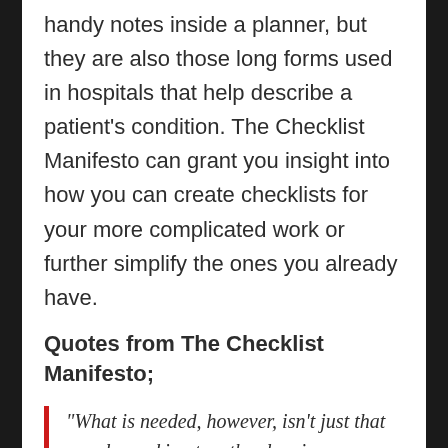handy notes inside a planner, but they are also those long forms used in hospitals that help describe a patient's condition. The Checklist Manifesto can grant you insight into how you can create checklists for your more complicated work or further simplify the ones you already have.
Quotes from The Checklist Manifesto;
“What is needed, however, isn’t just that people working together be nice